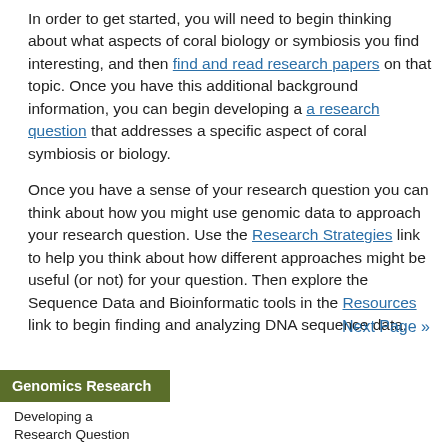In order to get started, you will need to begin thinking about what aspects of coral biology or symbiosis you find interesting, and then find and read research papers on that topic. Once you have this additional background information, you can begin developing a research question that addresses a specific aspect of coral symbiosis or biology.
Once you have a sense of your research question you can think about how you might use genomic data to approach your research question. Use the Research Strategies link to help you think about how different approaches might be useful (or not) for your question. Then explore the Sequence Data and Bioinformatic tools in the Resources link to begin finding and analyzing DNA sequence data.
Next Page »
Genomics Research
Developing a Research Question